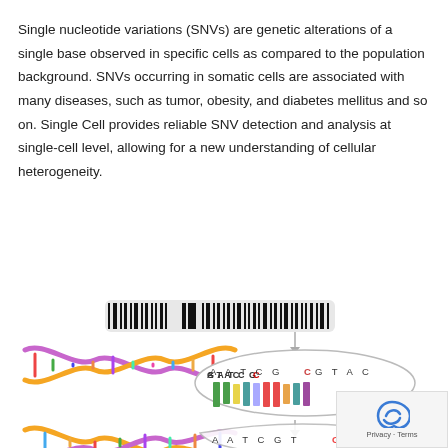Single nucleotide variations (SNVs) are genetic alterations of a single base observed in specific cells as compared to the population background. SNVs occurring in somatic cells are associated with many diseases, such as tumor, obesity, and diabetes mellitus and so on. Single Cell provides reliable SNV detection and analysis at single-cell level, allowing for a new understanding of cellular heterogeneity.
[Figure (illustration): Scientific illustration showing DNA double helix structures alongside a barcode-like sequence representation. The top shows a black and white barcode pattern with a gap/SNV in the middle. Below is a colorful DNA double helix on the left with a zoomed elliptical inset showing the sequence AATCGCGTAC with colored vertical bars representing nucleotides. A downward arrow leads to a second partial view of a DNA helix and sequence AATCGTGTAC at the bottom, indicating an SNV change. A blue circular scroll-to-top button and a Privacy/Terms badge overlay the illustration.]